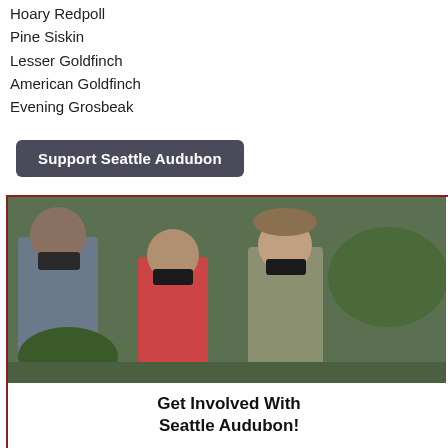Hoary Redpoll
Pine Siskin
Lesser Goldfinch
American Goldfinch
Evening Grosbeak
Support Seattle Audubon
[Figure (photo): People using binoculars outdoors, birding activity]
Get Involved With Seattle Audubon!
Go Birding!
Volunteer
Adult Classes
Nature Camp
Nature Shop
Got a Question?
Ask a Master Birder!
© Joseph V. Higbee
[Figure (photo): Four thumbnail photos of birds]
Hover over to view. Click to enlarge.
Description | Life History | Status
General Description
Red Crossbills are finches with highly s... Male Red Crossbills are brick-red with b... greenish-yellow with black wings and n... size of Red Crossbills varies considerab... preferences as well as flight calls. Thes... into eight distinct types, and it is likely th... the future.
Family Members
[Figure (photo): Three photos of family member birds]